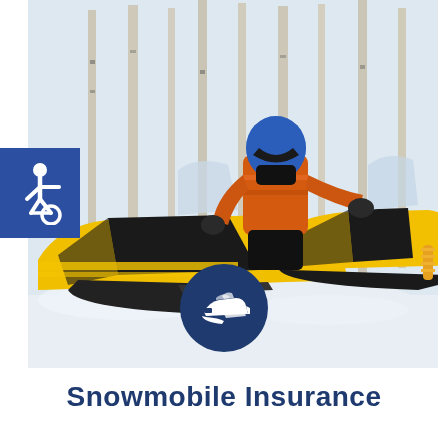[Figure (photo): Person in orange jacket and blue helmet riding a yellow snowmobile in a snowy birch forest, with another yellow snowmobile in the foreground]
[Figure (logo): Accessibility wheelchair icon in white on a dark blue square badge on the left side]
[Figure (illustration): Snowmobile icon in white inside a dark navy blue circle, centered below the main photo]
Snowmobile Insurance